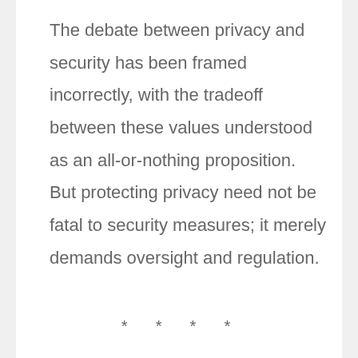The debate between privacy and security has been framed incorrectly, with the tradeoff between these values understood as an all-or-nothing proposition. But protecting privacy need not be fatal to security measures; it merely demands oversight and regulation.
* * * *